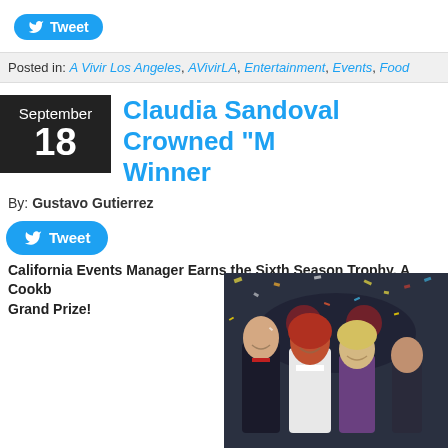[Figure (other): Tweet button (blue rounded rectangle with bird icon and 'Tweet' text) at top]
Posted in: A Vivir Los Angeles, AVivirLA, Entertainment, Events, Food
Claudia Sandoval Crowned “M... Winner
By: Gustavo Gutierrez
[Figure (other): Tweet button (blue rounded rectangle with bird icon and 'Tweet' text)]
California Events Manager Earns the Sixth Season Trophy, A Cookb... Grand Prize!
[Figure (photo): Group photo of people celebrating with confetti, including a man in a dark suit and a woman in a white chef's coat with red hair, standing in a TV studio setting]